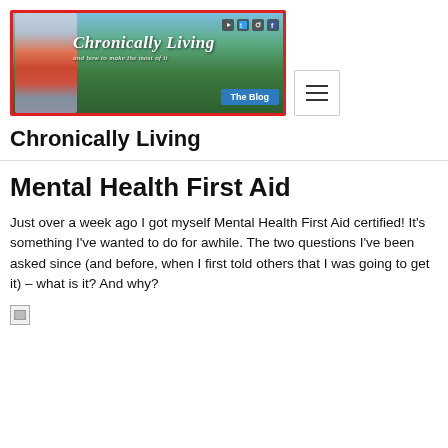[Figure (photo): Website banner for 'Chronically Living and how to make the most of it - The Blog' with a woman in a red top standing outdoors with green trees in background, red border, social media icons, and a blue 'The Blog' button.]
Chronically Living
Mental Health First Aid
Just over a week ago I got myself Mental Health First Aid certified! It's something I've wanted to do for awhile. The two questions I've been asked since (and before, when I first told others that I was going to get it) – what is it? And why?
[Figure (photo): Small broken/loading image icon at the bottom of the page]